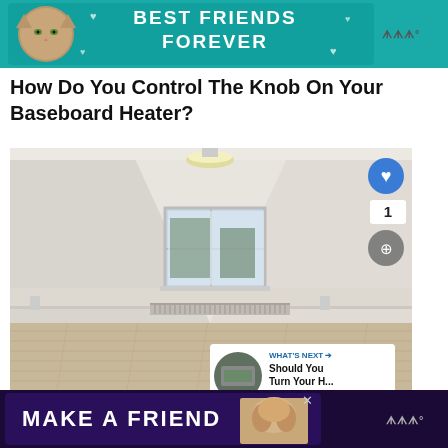[Figure (infographic): Advertisement banner: teal background with cat photo, text 'BEST FRIENDS FOREVER' in white bold font, with decorative hearts]
How Do You Control The Knob On Your Baseboard Heater?
[Figure (photo): Interior photo of an empty room with white walls, wood laminate floor, a baseboard heater along the far wall, a window with natural light, and a ceiling light fixture. UI overlays include a blue heart button, a share button, a count of 1, and a 'What's Next' thumbnail preview.]
[Figure (infographic): Advertisement banner: dark purple background with dog photo, text 'MAKE A FRIEND' in white bold font, with decorative hearts and a close button]